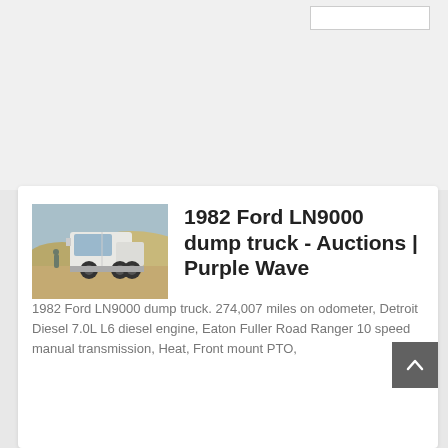[Figure (screenshot): Top section with light gray background and a search box in the upper right corner]
[Figure (photo): Photo of a 1982 Ford LN9000 dump truck, a white large truck cab in a desert/arid setting with hills in the background]
1982 Ford LN9000 dump truck - Auctions | Purple Wave
1982 Ford LN9000 dump truck. 274,007 miles on odometer, Detroit Diesel 7.0L L6 diesel engine, Eaton Fuller Road Ranger 10 speed manual transmission, Heat, Front mount PTO, ...